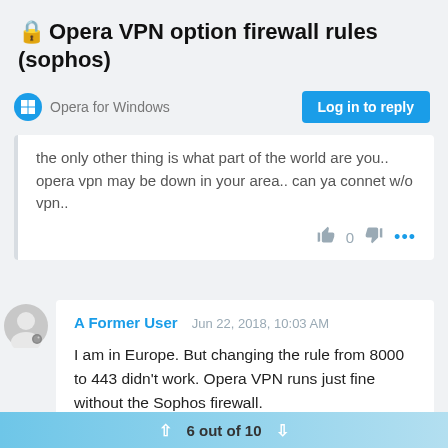🔒Opera VPN option firewall rules (sophos)
Opera for Windows
the only other thing is what part of the world are you.. opera vpn may be down in your area.. can ya connet w/o vpn..
A Former User   Jun 22, 2018, 10:03 AM
I am in Europe. But changing the rule from 8000 to 443 didn't work. Opera VPN runs just fine without the Sophos firewall.
6 out of 10